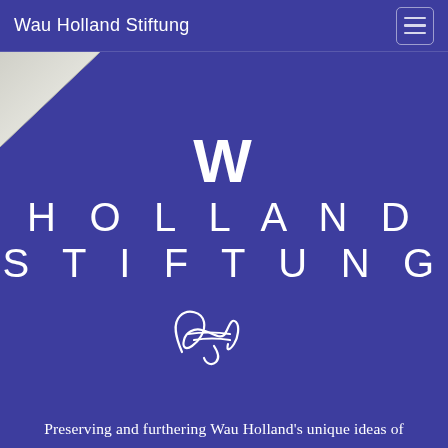Wau Holland Stiftung
[Figure (logo): Wau Holland Stiftung logo with large spaced letters W, HOLLAND, STIFTUNG in white on blue background, with a handwritten signature below]
Preserving and furthering Wau Holland's unique ideas of